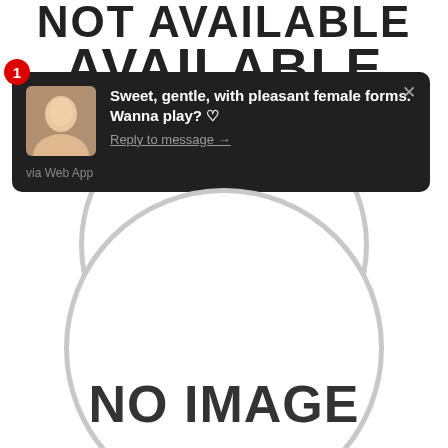[Figure (screenshot): Partial text at top reading 'NOT AVAILABLE' in large bold letters, partially cropped]
[Figure (screenshot): Dark notification popup with badge number 1, avatar photo of a woman, message text 'Sweet, gentle, with pleasant female forms. Wanna play? ♥', link 'Reply to message →', source 'via Web App', and close X button]
[Figure (illustration): Gray circular placeholder with 'NO IMAGE' text, partially visible circle at top and large circle at bottom of page]